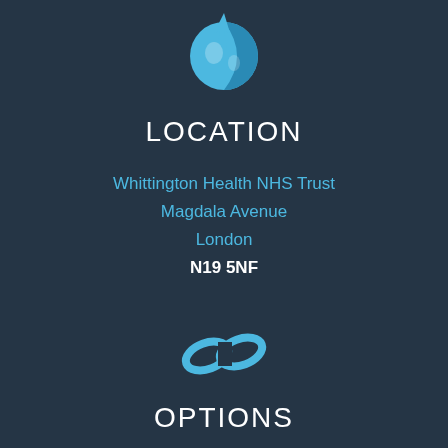[Figure (illustration): Blue globe icon with cursor/pointer overlay]
LOCATION
Whittington Health NHS Trust
Magdala Avenue
London
N19 5NF
[Figure (illustration): Blue chain link / hyperlink icon]
OPTIONS
Accessibility
Terms and Conditions
Privacy Notice